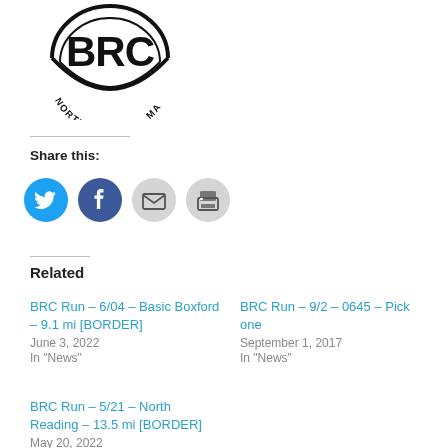[Figure (logo): BRC logo — circular badge with bold letters BRC and text NORTH ANDOVER, MA along the bottom arc]
Share this:
[Figure (infographic): Four social share icon buttons: Twitter (blue circle with bird), Facebook (dark blue circle with f), Email (gray circle with envelope), Print (gray circle with printer)]
Related
BRC Run – 6/04 – Basic Boxford – 9.1 mi [BORDER]
June 3, 2022
In "News"
BRC Run – 9/2 – 0645 – Pick one
September 1, 2017
In "News"
BRC Run – 5/21 – North Reading – 13.5 mi [BORDER]
May 20, 2022
In "News"